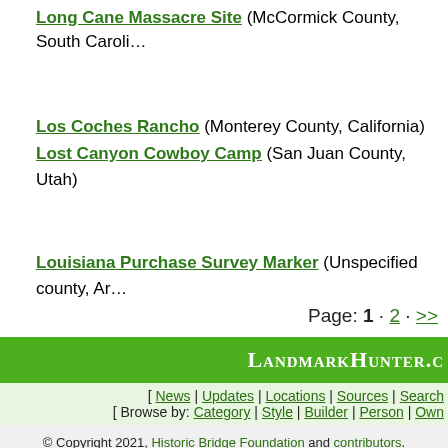Long Cane Massacre Site (McCormick County, South Carolina)
Los Coches Rancho (Monterey County, California)
Lost Canyon Cowboy Camp (San Juan County, Utah)
Louisiana Purchase Survey Marker (Unspecified county, Arkansas)
Page: 1 · 2 · >>
LANDMARKHUNTER.C…
[ News | Updates | Locations | Sources | Search
[ Browse by: Category | Style | Builder | Person | Own…
© Copyright 2021, Historic Bridge Foundation and contributors. This page's URL is http://landmarkhunter.com/category/site/